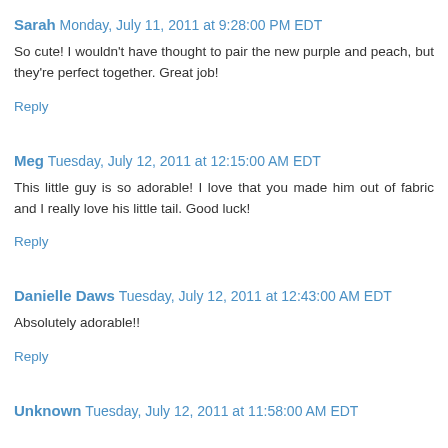Sarah Monday, July 11, 2011 at 9:28:00 PM EDT
So cute! I wouldn't have thought to pair the new purple and peach, but they're perfect together. Great job!
Reply
Meg Tuesday, July 12, 2011 at 12:15:00 AM EDT
This little guy is so adorable! I love that you made him out of fabric and I really love his little tail. Good luck!
Reply
Danielle Daws Tuesday, July 12, 2011 at 12:43:00 AM EDT
Absolutely adorable!!
Reply
Unknown Tuesday, July 12, 2011 at 11:58:00 AM EDT